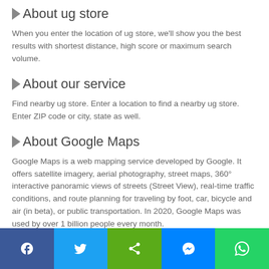▷About ug store
When you enter the location of ug store, we'll show you the best results with shortest distance, high score or maximum search volume.
▷About our service
Find nearby ug store. Enter a location to find a nearby ug store. Enter ZIP code or city, state as well.
▷About Google Maps
Google Maps is a web mapping service developed by Google. It offers satellite imagery, aerial photography, street maps, 360° interactive panoramic views of streets (Street View), real-time traffic conditions, and route planning for traveling by foot, car, bicycle and air (in beta), or public transportation. In 2020, Google Maps was used by over 1 billion people every month.
Social share bar: Facebook, Twitter, Share, Messenger, WhatsApp